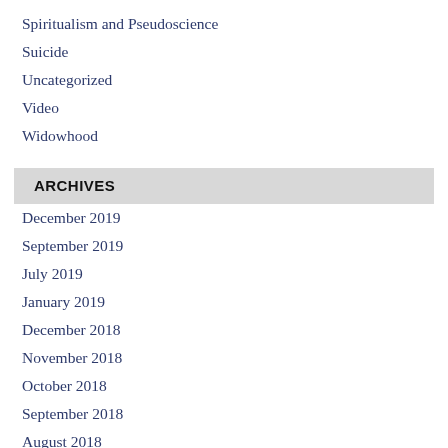Spiritualism and Pseudoscience
Suicide
Uncategorized
Video
Widowhood
ARCHIVES
December 2019
September 2019
July 2019
January 2019
December 2018
November 2018
October 2018
September 2018
August 2018
June 2018
May 2018
April 2018